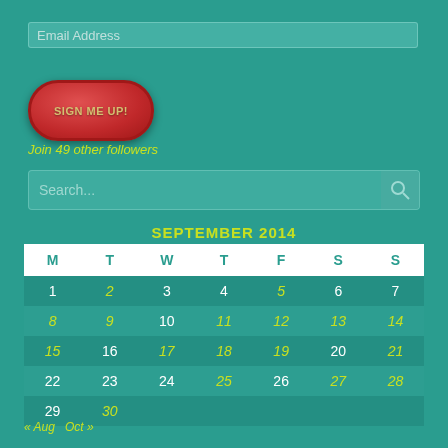Email Address
SIGN ME UP!
Join 49 other followers
Search...
SEPTEMBER 2014
| M | T | W | T | F | S | S |
| --- | --- | --- | --- | --- | --- | --- |
| 1 | 2 | 3 | 4 | 5 | 6 | 7 |
| 8 | 9 | 10 | 11 | 12 | 13 | 14 |
| 15 | 16 | 17 | 18 | 19 | 20 | 21 |
| 22 | 23 | 24 | 25 | 26 | 27 | 28 |
| 29 | 30 |  |  |  |  |  |
« Aug  Oct »